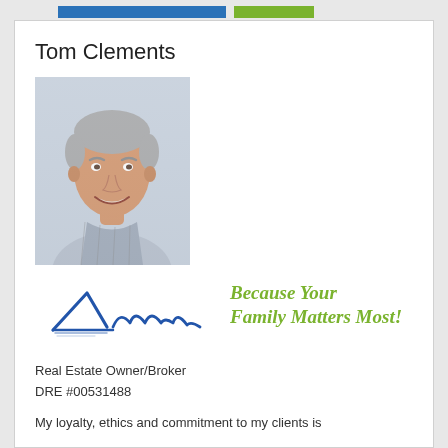Tom Clements
[Figure (photo): Professional headshot of Tom Clements, an older man with gray hair, smiling, wearing a light plaid shirt]
[Figure (illustration): Handwritten signature of Tom (in blue ink cursive)]
Because Your Family Matters Most!
Real Estate Owner/Broker
DRE #00531488
My loyalty, ethics and commitment to my clients is